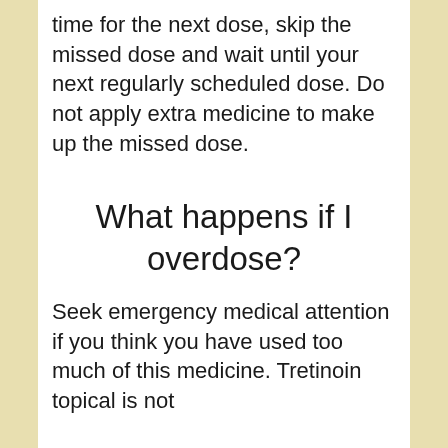time for the next dose, skip the missed dose and wait until your next regularly scheduled dose. Do not apply extra medicine to make up the missed dose.
What happens if I overdose?
Seek emergency medical attention if you think you have used too much of this medicine. Tretinoin topical is not